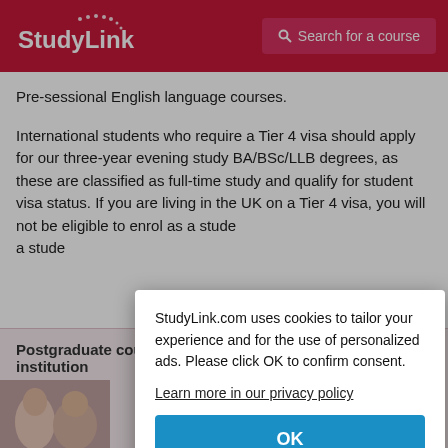StudyLink | Search for a course
Pre-sessional English language courses.
International students who require a Tier 4 visa should apply for our three-year evening study BA/BSc/LLB degrees, as these are classified as full-time study and qualify for student visa status. If you are living in the UK on a Tier 4 visa, you will not be eligible to enrol as a stude[nt on our part-time undergraduate] degree[s].
Postg[raduate courses at this] institu[tion]
[Figure (photo): Photo of students partially visible at bottom left]
StudyLink.com uses cookies to tailor your experience and for the use of personalized ads. Please click OK to confirm consent.
Learn more in our privacy policy
OK